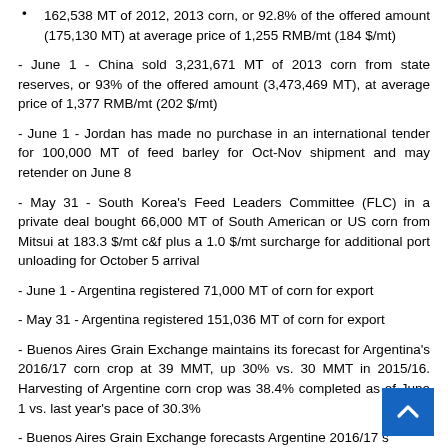162,538 MT of 2012, 2013 corn, or 92.8% of the offered amount (175,130 MT) at average price of 1,255 RMB/mt (184 $/mt)
- June 1 - China sold 3,231,671 MT of 2013 corn from state reserves, or 93% of the offered amount (3,473,469 MT), at average price of 1,377 RMB/mt (202 $/mt)
- June 1 - Jordan has made no purchase in an international tender for 100,000 MT of feed barley for Oct-Nov shipment and may retender on June 8
- May 31 - South Korea's Feed Leaders Committee (FLC) in a private deal bought 66,000 MT of South American or US corn from Mitsui at 183.3 $/mt c&f plus a 1.0 $/mt surcharge for additional port unloading for October 5 arrival
- June 1 - Argentina registered 71,000 MT of corn for export
- May 31 - Argentina registered 151,036 MT of corn for export
- Buenos Aires Grain Exchange maintains its forecast for Argentina's 2016/17 corn crop at 39 MMT, up 30% vs. 30 MMT in 2015/16. Harvesting of Argentine corn crop was 38.4% completed as of June 1 vs. last year's pace of 30.3%
- Buenos Aires Grain Exchange forecasts Argentine 2016/17 s